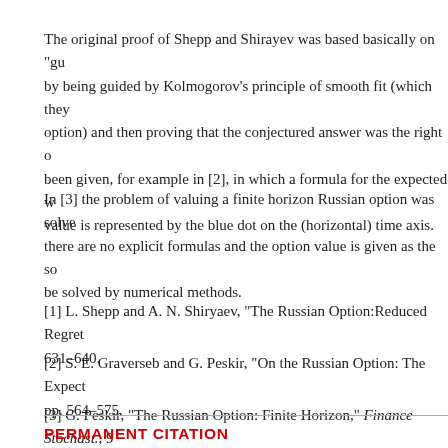The original proof of Shepp and Shirayev was based basically on "gu by being guided by Kolmogorov's principle of smooth fit (which they option) and then proving that the conjectured answer was the right o been given, for example in [2], in which a formula for the expected w value is represented by the blue dot on the (horizontal) time axis.
In [3] the problem of valuing a finite horizon Russian option was solve there are no explicit formulas and the option value is given as the so be solved by numerical methods.
[1] L. Shepp and A. N. Shiryaev, "The Russian Option:Reduced Regret 631–640.
[2] S. E. Graverseb and G. Peskir, "On the Russian Option: The Expect pp. 564–575.
[3] G. Peskir, "The Russian Option: Finite Horizon," Finance Stochast., 9
PERMANENT CITATION